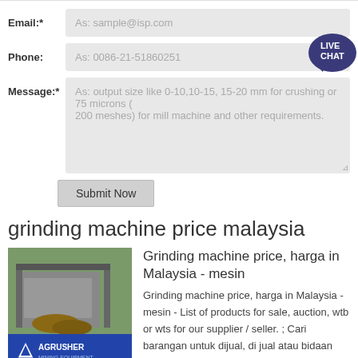Email:*   As: sample@isp.com
Phone:   As: 0086-21-51860251
Message:*   As: output size like 0-10,10-15, 15-20 mm for crushing or 75 microns (200 meshes) for mill machine and other requirements.
Submit Now
grinding machine price malaysia
[Figure (photo): Photo of a mining/crushing machine with AGRUSHER MINING EQUIPMENT branding, yellow and metal machinery with logs in background]
Grinding machine price, harga in Malaysia - mesin
Grinding machine price, harga in Malaysia - mesin - List of products for sale, auction, wtb or wts for our supplier / seller. ; Cari barangan untuk dijual, di jual atau bidaan dari penjual/pembekal kita.
Get Price >